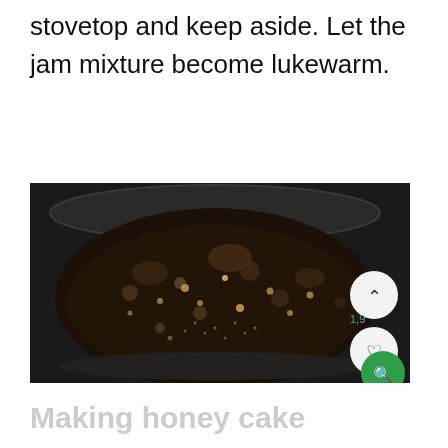stovetop and keep aside. Let the jam mixture become lukewarm.
[Figure (photo): Close-up photo of a dark bubbling jam mixture cooking in a pot/pan, viewed from above. The mixture appears dark brown/black with bubbles and seeds visible on the surface.]
Making honey cake